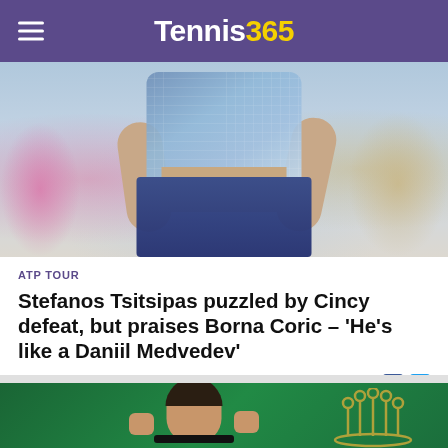Tennis365
[Figure (photo): Tennis player with shirt lifted, showing stomach, celebrating or reacting during a match. Crowd visible in blurred background.]
ATP TOUR
Stefanos Tsitsipas puzzled by Cincy defeat, but praises Borna Coric – 'He's like a Daniil Medvedev'
Shahida Jacobs
[Figure (photo): Tennis player celebrating with fist pump on a green court with gold Rolex logo in background.]